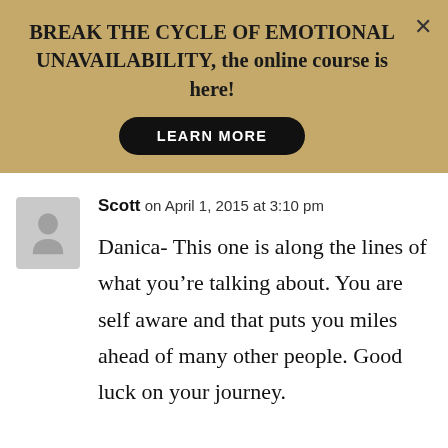[Figure (infographic): Gold/tan banner with bold text: BREAK THE CYCLE OF EMOTIONAL UNAVAILABILITY, the online course is here! with a black rounded LEARN MORE button and an X close button in the top right.]
Scott on April 1, 2015 at 3:10 pm
Danica- This one is along the lines of what you’re talking about. You are self aware and that puts you miles ahead of many other people. Good luck on your journey.

https://www.baggagereclaim.co.u